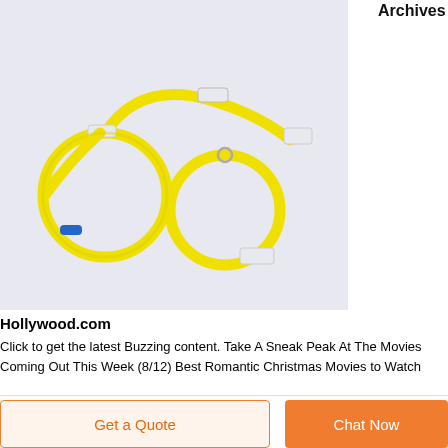Archives |
[Figure (photo): Yellow IV infusion tubing set with white connectors and blue luer lock tip, coiled on a light grey/lavender background]
Hollywood.com
Click to get the latest Buzzing content. Take A Sneak Peak At The Movies Coming Out This Week (8/12) Best Romantic Christmas Movies to Watch
Get a Quote
Chat Now